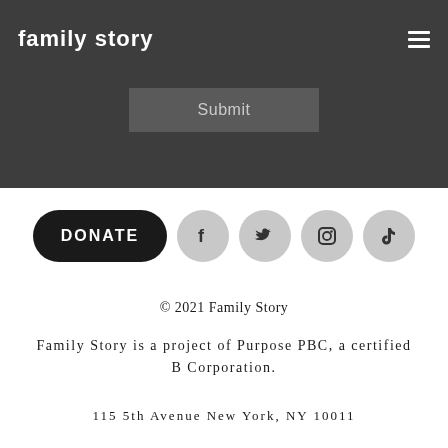family story
[Figure (screenshot): Submit button form element on dark gray background]
[Figure (infographic): DONATE button (black pill shape) and four social media icons: Facebook, Twitter, Instagram, TikTok on gray circles]
© 2021 Family Story
Family Story is a project of Purpose PBC, a certified B Corporation.
115 5th Avenue New York, NY 10011